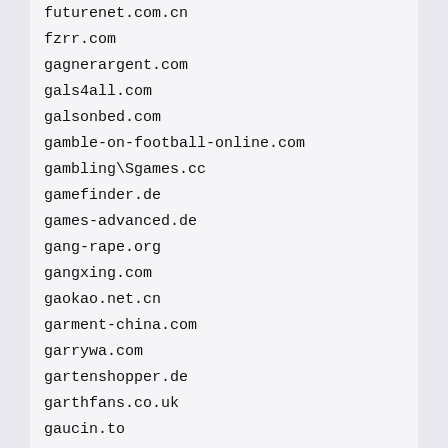futurenet.com.cn
fzrr.com
gagnerargent.com
gals4all.com
galsonbed.com
gamble-on-football-online.com
gambling\Sgames.cc
gamefinder.de
games-advanced.de
gang-rape.org
gangxing.com
gaokao.net.cn
garment-china.com
garrywa.com
gartenshopper.de
garthfans.co.uk
gaucin.to
gay-b.com
gaybloghosting.com/kushi
gay-boy.us